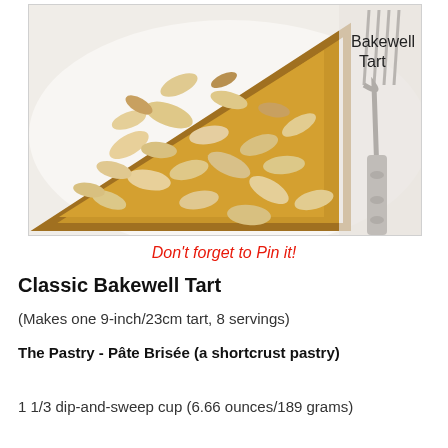[Figure (photo): A slice of Classic Bakewell Tart covered with sliced almonds on a white plate with a silver fork beside it. Text overlay reads 'Bakewell Tart' in the upper right.]
Don't forget to Pin it!
Classic Bakewell Tart
(Makes one 9-inch/23cm tart, 8 servings)
The Pastry - Pâte Brisée (a shortcrust pastry)
1 1/3 dip-and-sweep cup (6.66 ounces/189 grams)